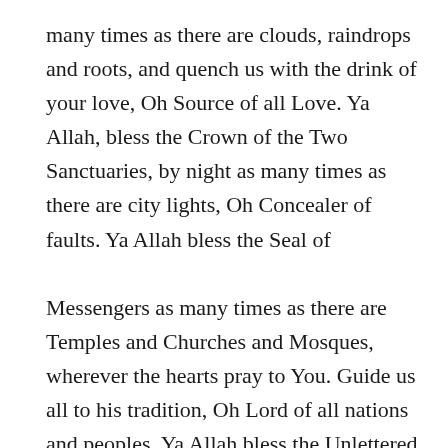many times as there are clouds, raindrops and roots, and quench us with the drink of your love, Oh Source of all Love. Ya Allah, bless the Crown of the Two Sanctuaries, by night as many times as there are city lights, Oh Concealer of faults. Ya Allah bless the Seal of

Messengers as many times as there are Temples and Churches and Mosques, wherever the hearts pray to You. Guide us all to his tradition, Oh Lord of all nations and peoples. Ya Allah bless the Unlettered Prophet as many times as there are pens and letters and books and increase us in knowledge of his story and to his proximity draw us near through deed, Oh Knower of Secrets. Ya Allah bless the One Who Ascended,

reaching the Lote Tree, as many times as there are